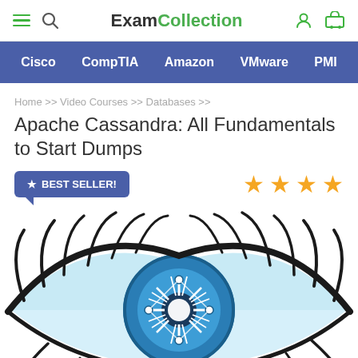ExamCollection
Cisco  CompTIA  Amazon  VMware  PMI
Home >> Video Courses >> Databases >>
Apache Cassandra: All Fundamentals to Start Dumps
BEST SELLER!
[Figure (illustration): Illustration of a stylized eye with blue iris, white spiky highlight in the center resembling the Cassandra logo/network graph symbol, surrounded by black eyelashes on a white background.]